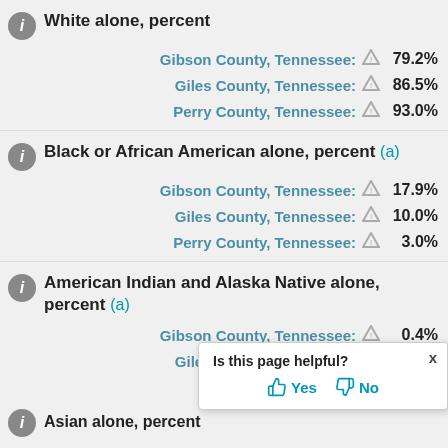White alone, percent
Gibson County, Tennessee: 79.2%
Giles County, Tennessee: 86.5%
Perry County, Tennessee: 93.0%
Black or African American alone, percent (a)
Gibson County, Tennessee: 17.9%
Giles County, Tennessee: 10.0%
Perry County, Tennessee: 3.0%
American Indian and Alaska Native alone, percent (a)
Gibson County, Tennessee: 0.4%
Giles County, Tennessee: 0.5%
Perry County, Tennessee: [partially hidden]
Asian alone, percent (a)
Is this page helpful? Yes / No